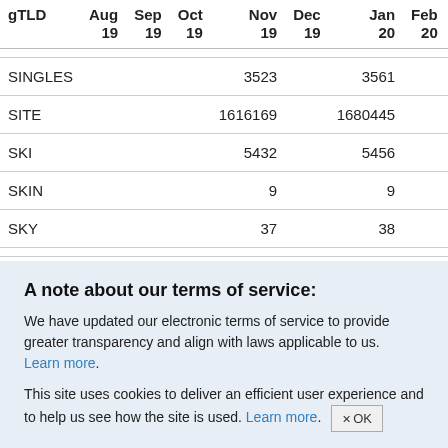| gTLD | Aug 19 | Sep 19 | Oct 19 | Nov 19 | Dec 19 | Jan 20 | Feb 20 | Mar 20 | A… |
| --- | --- | --- | --- | --- | --- | --- | --- | --- | --- |
|  |  |  |  |  |  |  |  |  |  |
| SINGLES |  |  |  | 3523 |  | 3561 |  | 3595 |  |
| SITE |  |  |  | 1616169 |  | 1680445 |  | 1772392 |  |
| SKI |  |  |  | 5432 |  | 5456 |  | 5498 |  |
| SKIN |  |  |  | 9 |  | 9 |  | 9 |  |
| SKY |  |  |  | 37 |  | 38 |  | 40 |  |
|  |  |  |  |  |  |  |  |  |  |
A note about our terms of service:
We have updated our electronic terms of service to provide greater transparency and align with laws applicable to us. Learn more.
This site uses cookies to deliver an efficient user experience and to help us see how the site is used. Learn more. ×OK